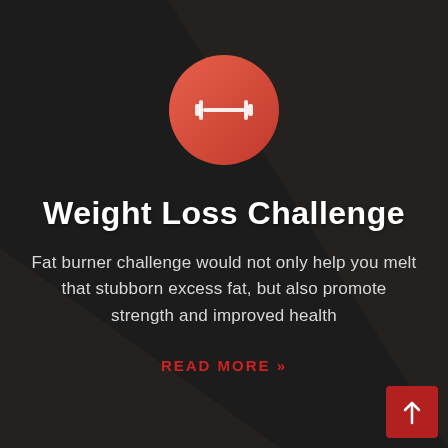[Figure (illustration): Red/orange circle with a white dumbbell icon inside]
Weight Loss Challenge
Fat burner challenge would not only help you melt that stubborn excess fat, but also promote strength and improved health
READ MORE »